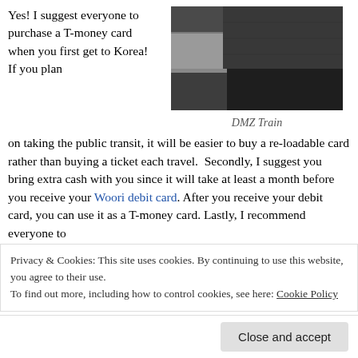Yes! I suggest everyone to purchase a T-money card when you first get to Korea! If you plan on taking the public transit, it will be easier to buy a re-loadable card rather than buying a ticket each travel.  Secondly, I suggest you bring extra cash with you since it will take at least a month before you receive your Woori debit card. After you receive your debit card, you can use it as a T-money card. Lastly, I recommend everyone to
[Figure (photo): Black and white photo of train tracks at a station platform, labeled DMZ Train]
DMZ Train
Privacy & Cookies: This site uses cookies. By continuing to use this website, you agree to their use.
To find out more, including how to control cookies, see here: Cookie Policy